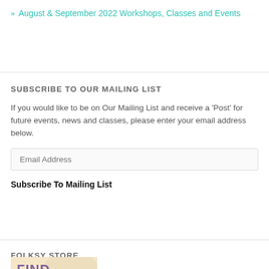» August & September 2022 Workshops, Classes and Events
SUBSCRIBE TO OUR MAILING LIST
If you would like to be on Our Mailing List and receive a 'Post' for future events, news and classes, please enter your email address below.
Email Address
Subscribe To Mailing List
FOLKSY STORE
[Figure (illustration): Folksy store promotional image with colorful text 'FIND ME ON Folksy' on a warm beige background]